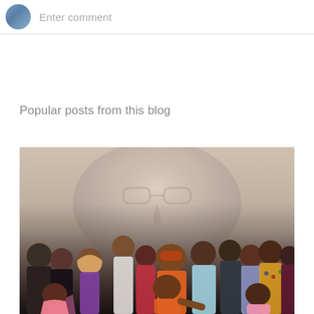Enter comment
Popular posts from this blog
[Figure (photo): A movie poster or promotional image featuring a large faded face in the background and a group of diverse people in colorful outfits standing together in the foreground.]